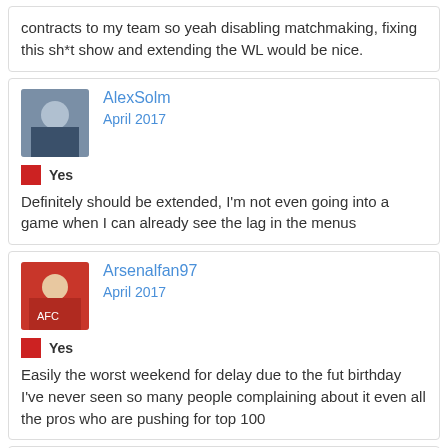contracts to my team so yeah disabling matchmaking, fixing this sh*t show and extending the WL would be nice.
AlexSolm
April 2017
Yes
Definitely should be extended, I'm not even going into a game when I can already see the lag in the menus
Arsenalfan97
April 2017
Yes
Easily the worst weekend for delay due to the fut birthday I've never seen so many people complaining about it even all the pros who are pushing for top 100
mjs4p